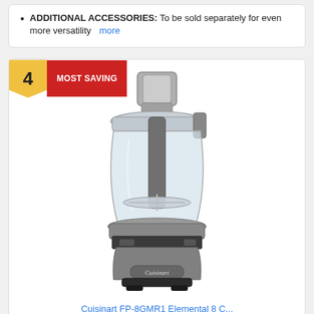ADDITIONAL ACCESSORIES: To be sold separately for even more versatility  more
[Figure (photo): Cuisinart food processor, silver/gunmetal color, with clear bowl, feed tube on top, and Cuisinart logo on base. Ranked #4 with 'MOST SAVING' badge.]
Cuisinart FP-8GMR1 Elemental 8 C...